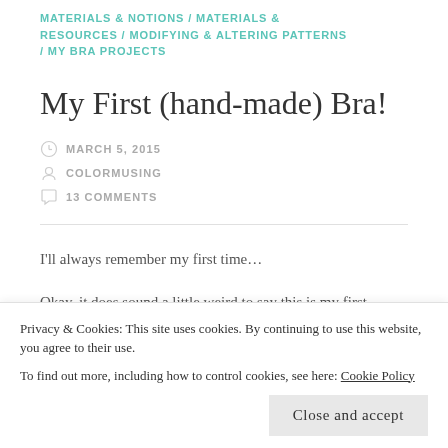MATERIALS & NOTIONS / MATERIALS & RESOURCES / MODIFYING & ALTERING PATTERNS / MY BRA PROJECTS
My First (hand-made) Bra!
MARCH 5, 2015
COLORMUSNG
13 COMMENTS
I'll always remember my first time...
Okay, it does sound a little weird to say this is my first
Privacy & Cookies: This site uses cookies. By continuing to use this website, you agree to their use. To find out more, including how to control cookies, see here: Cookie Policy
Close and accept